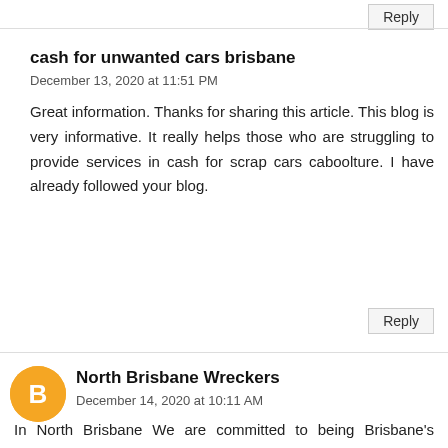Reply
cash for unwanted cars brisbane
December 13, 2020 at 11:51 PM
Great information. Thanks for sharing this article. This blog is very informative. It really helps those who are struggling to provide services in cash for scrap cars caboolture. I have already followed your blog.
Reply
North Brisbane Wreckers
December 14, 2020 at 10:11 AM
In North Brisbane We are committed to being Brisbane's fastest, easiest way to get cash for a junk or unwanted car Cash For Cars North Brisbane